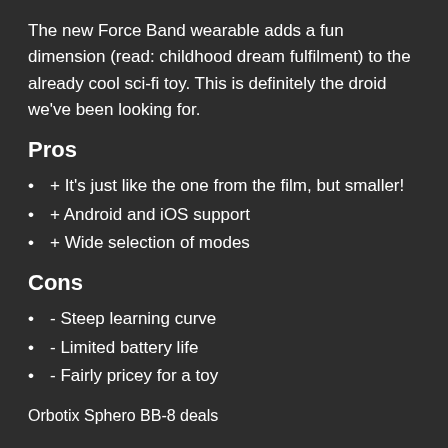The new Force Band wearable adds a fun dimension (read: childhood dream fulfilment) to the already cool sci-fi toy. This is definitely the droid we've been looking for.
Pros
+ It's just like the one from the film, but smaller!
+ Android and iOS support
+ Wide selection of modes
Cons
- Steep learning curve
- Limited battery life
- Fairly pricey for a toy
Orbotix Sphero BB-8 deals